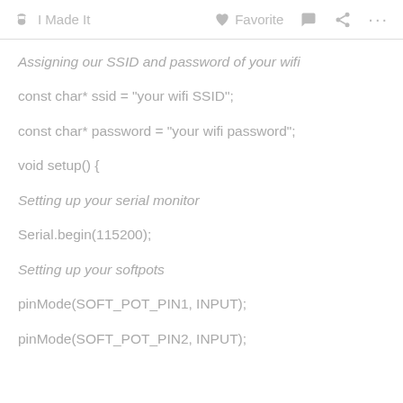✋ I Made It   ♡ Favorite   💬   ⎋   ...
Assigning our SSID and password of your wifi
const char* ssid = "your wifi SSID";
const char* password = "your wifi password";
void setup() {
Setting up your serial monitor
Serial.begin(115200);
Setting up your softpots
pinMode(SOFT_POT_PIN1, INPUT);
pinMode(SOFT_POT_PIN2, INPUT);